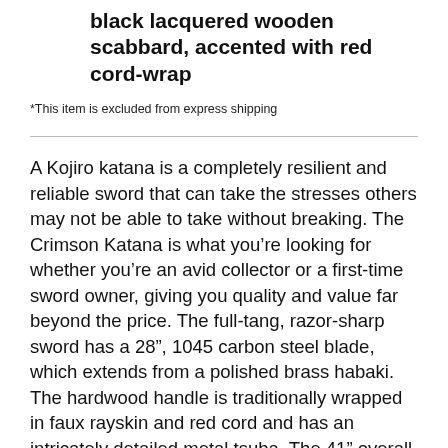black lacquered wooden scabbard, accented with red cord-wrap
*This item is excluded from express shipping
A Kojiro katana is a completely resilient and reliable sword that can take the stresses others may not be able to take without breaking. The Crimson Katana is what you’re looking for whether you’re an avid collector or a first-time sword owner, giving you quality and value far beyond the price. The full-tang, razor-sharp sword has a 28”, 1045 carbon steel blade, which extends from a polished brass habaki. The hardwood handle is traditionally wrapped in faux rayskin and red cord and has an intricately detailed metal tsuba. The 41” overall katana slides